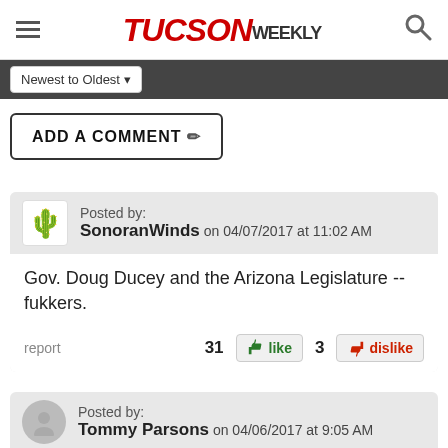TUCSON WEEKLY
Newest to Oldest
ADD A COMMENT
Posted by: SonoranWinds on 04/07/2017 at 11:02 AM
Gov. Doug Ducey and the Arizona Legislature -- fukkers.
report  31 like  3 dislike
Posted by: Tommy Parsons on 04/06/2017 at 9:05 AM